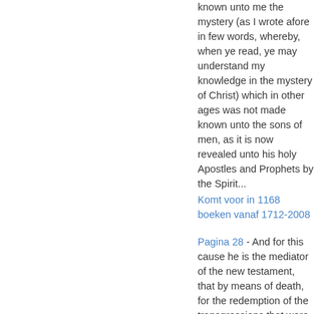known unto me the mystery (as I wrote afore in few words, whereby, when ye read, ye may understand my knowledge in the mystery of Christ) which in other ages was not made known unto the sons of men, as it is now revealed unto his holy Apostles and Prophets by the Spirit...
Komt voor in 1168 boeken vanaf 1712-2008
Pagina 28 - And for this cause he is the mediator of the new testament, that by means of death, for the redemption of the transgressions that were under the first testament, they which are called...